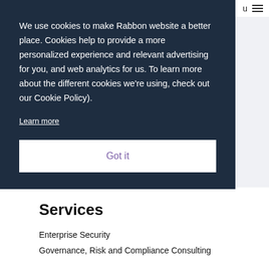u ☰
We use cookies to make Rabbon website a better place. Cookies help to provide a more personalized experience and relevant advertising for you, and web analytics for us. To learn more about the different cookies we're using, check out our Cookie Policy).
Learn more
Got it
Services
Enterprise Security
Governance, Risk and Compliance Consulting